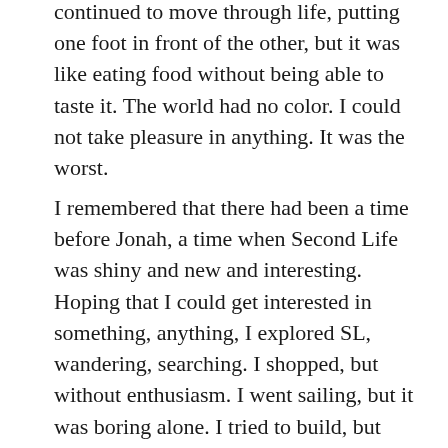continued to move through life, putting one foot in front of the other, but it was like eating food without being able to taste it. The world had no color. I could not take pleasure in anything. It was the worst.
I remembered that there had been a time before Jonah, a time when Second Life was shiny and new and interesting. Hoping that I could get interested in something, anything, I explored SL, wandering, searching. I shopped, but without enthusiasm. I went sailing, but it was boring alone. I tried to build, but with no one to build for, every prim just reminded me of my loss. I even made a half hearted attempt to date a little, but compared to Jonah, every